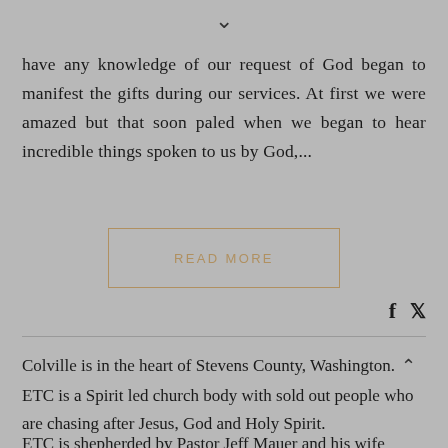have any knowledge of our request of God began to manifest the gifts during our services. At first we were amazed but that soon paled when we began to hear incredible things spoken to us by God,...
READ MORE
Colville is in the heart of Stevens County, Washington. ETC is a Spirit led church body with sold out people who are chasing after Jesus, God and Holy Spirit.
ETC is shepherded by Pastor Jeff Mauer and his wife